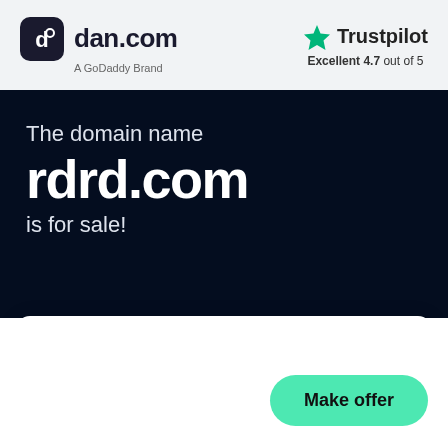[Figure (logo): dan.com logo with rounded square icon on grey header background]
[Figure (logo): Trustpilot green star logo with 'Excellent 4.7 out of 5' rating]
The domain name rdrd.com is for sale!
Make an offer
Make offer